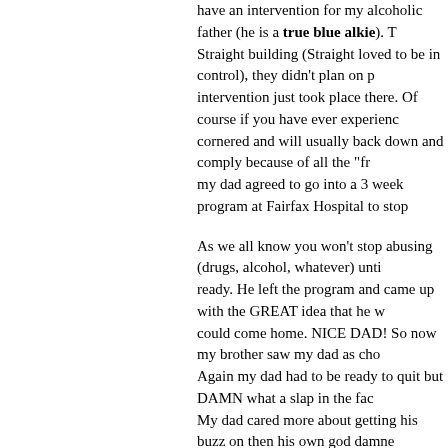have an intervention for my alcoholic father (he is a true blue alkie). The intervention just took place there. Of course if you have ever experienced cornered and will usually back down and comply because of all the "fr my dad agreed to go into a 3 week program at Fairfax Hospital to stop
As we all know you won't stop abusing (drugs, alcohol, whatever) unti ready. He left the program and came up with the GREAT idea that he w could come home. NICE DAD! So now my brother saw my dad as cho Again my dad had to be ready to quit but DAMN what a slap in the fac My dad cared more about getting his buzz on then his own god damne today about it.
Then, while in Straight we found out my dad had cheated on my mom had another child about 7 years before. My brother got wind of this in member at Straight told him, they just wouldn't let him talk about it. E it they would tell him to focus on HIS problem. As if DRUGS are EVE always behind it. So basically they told him just to MESS with him, no that my brother was put through this. He was made to think he was wo going for him. Every time he ran away he was brought back FORCEFU window out in hopes of severing his hand so he could go to the hospita
I was around a few times when they got him at our house, it was alway 6'3"), with friends and neighbors helping to restrain him. Granted none straight, but the one problem I do have is that if a kid runs away 7 time WORKING, move on! Get him OUT! But that didn't happen. Looking have, it really breaks my heart. Because every time my brother ran it w concentration camp, and they brought him back to that hell hole 7 time moving car on one occasion risking his life in order not to go back. I c